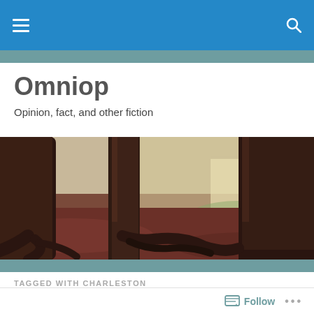Omniop — navigation bar with hamburger menu and search icon
Omniop
Opinion, fact, and other fiction
[Figure (photo): Forest scene with large tree trunks, exposed roots, and reddish-brown ground cover with dappled light in the background]
TAGGED WITH CHARLESTON
Guns
Follow  •••